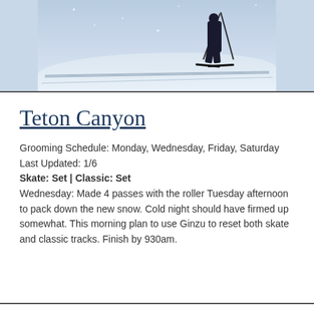[Figure (photo): Photo of a skier on snowy cross-country ski trails, lower body visible, ski poles and skis shown, snowing conditions]
Teton Canyon
Grooming Schedule: Monday, Wednesday, Friday, Saturday
Last Updated: 1/6
Skate: Set | Classic: Set
Wednesday: Made 4 passes with the roller Tuesday afternoon to pack down the new snow. Cold night should have firmed up somewhat. This morning plan to use Ginzu to reset both skate and classic tracks. Finish by 930am.